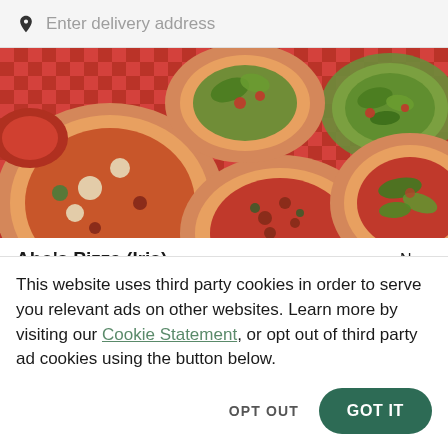Enter delivery address
[Figure (photo): Overhead view of multiple pizzas and Italian dishes on a red checkered tablecloth]
Abo's Pizza (Iris)
New
Pizza • American • Italian
2761 Iris Ave, Boulder, CO 80304
This website uses third party cookies in order to serve you relevant ads on other websites. Learn more by visiting our Cookie Statement, or opt out of third party ad cookies using the button below.